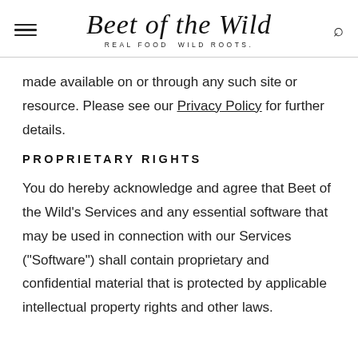Beet of the Wild
REAL FOOD  WILD ROOTS.
made available on or through any such site or resource. Please see our Privacy Policy for further details.
PROPRIETARY RIGHTS
You do hereby acknowledge and agree that Beet of the Wild's Services and any essential software that may be used in connection with our Services ("Software") shall contain proprietary and confidential material that is protected by applicable intellectual property rights and other laws.